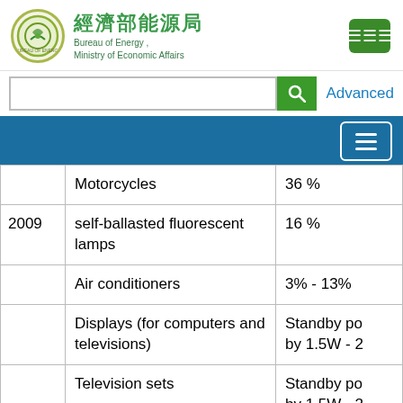經濟部能源局 Bureau of Energy, Ministry of Economic Affairs
| Year | Product | Value |
| --- | --- | --- |
|  | Motorcycles | 36 % |
| 2009 | self-ballasted fluorescent lamps | 16 % |
|  | Air conditioners | 3% - 13% |
|  | Displays (for computers and televisions) | Standby po... by 1.5W - 2... |
|  | Television sets | Standby po... by 1.5W - 2... |
|  | Electric rice cookers | 5 % |